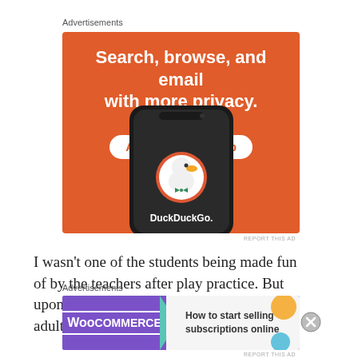Advertisements
[Figure (illustration): DuckDuckGo advertisement on orange background. Text reads 'Search, browse, and email with more privacy. All in One Free App' with a smartphone showing DuckDuckGo logo and app name.]
REPORT THIS AD
I wasn't one of the students being made fun of by the teachers after play practice. But upon hearing them, I learned that not all adults had the integrity
Advertisements
[Figure (illustration): WooCommerce advertisement. Purple background with WooCommerce logo on left, teal arrow, light background on right with text 'How to start selling subscriptions online' and orange/blue decorative shapes.]
REPORT THIS AD